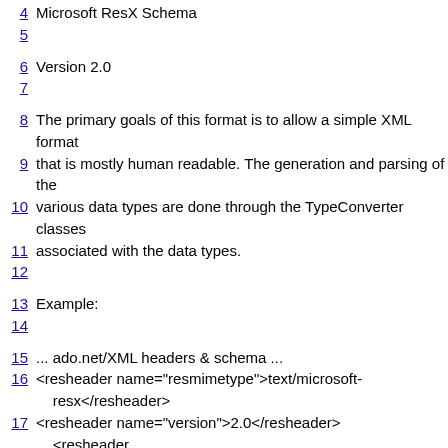4    Microsoft ResX Schema
5
6    Version 2.0
7
8    The primary goals of this format is to allow a simple XML format
9    that is mostly human readable. The generation and parsing of the
10   various data types are done through the TypeConverter classes
11   associated with the data types.
12
13   Example:
14
15   ... ado.net/XML headers & schema ...
16   <resheader name="resmimetype">text/microsoft-resx</resheader>
17   <resheader name="version">2.0</resheader>
18   <resheader name="reader">System.Resources.ResXResourceReader, System.Windows.Forms, ...</resheader>
19   <resheader name="writer">System.Resources.ResXResourceWriter, System.Windows.Forms, ...</resheader>
20   <data name="Name1"><value>this is my long string</value> <comment>this is a comment</comment></data>
21   <data name="Color1" type="System.Drawing.Color,